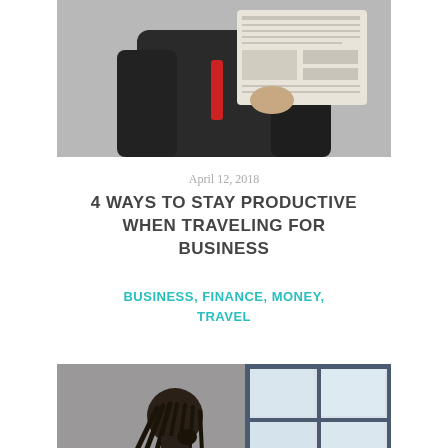[Figure (photo): A person in a dark suit holding and reading a newspaper, cropped at chest level, with a blurred background]
April 12, 2018
4 WAYS TO STAY PRODUCTIVE WHEN TRAVELING FOR BUSINESS
BUSINESS, FINANCE, MONEY, TRAVEL
[Figure (photo): A man with dreadlocks seen from behind, looking toward a large grid window with natural light coming through]